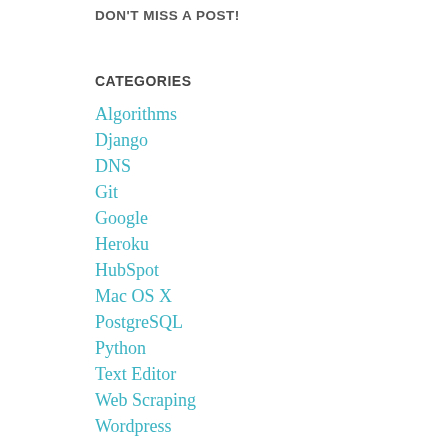DON'T MISS A POST!
CATEGORIES
Algorithms
Django
DNS
Git
Google
Heroku
HubSpot
Mac OS X
PostgreSQL
Python
Text Editor
Web Scraping
Wordpress
ARCHIVES
September 2016